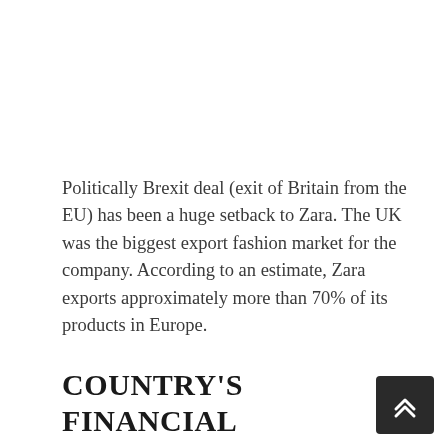Politically Brexit deal (exit of Britain from the EU) has been a huge setback to Zara. The UK was the biggest export fashion market for the company. According to an estimate, Zara exports approximately more than 70% of its products in Europe.
COUNTRY'S FINANCIAL REGULATIONS
Zara is a multinational fashion company and it's operating its business in different countries across